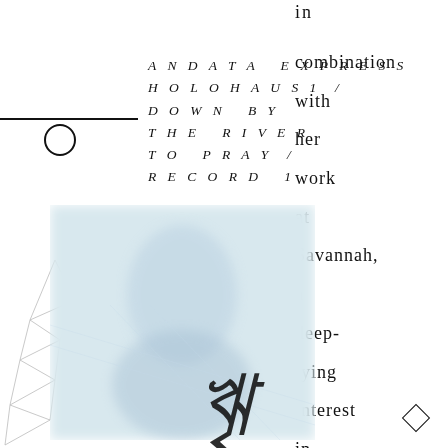in
ANDATA EXPRESS
HOLOHAUS 1 /
DOWN BY
THE RIVER
TO PRAY /
RECORD 1
combination
with
her
work
at
Savannah,
a
deep-
lying
interest
in
[Figure (illustration): Abstract geometric line drawing with triangular and angular shapes on left side]
[Figure (photo): Blurred light blue/gray background photo of a figure]
[Figure (illustration): Decorative calligraphic/script overlay in dark ink at bottom center]
[Figure (other): Small diamond outline shape at bottom right]